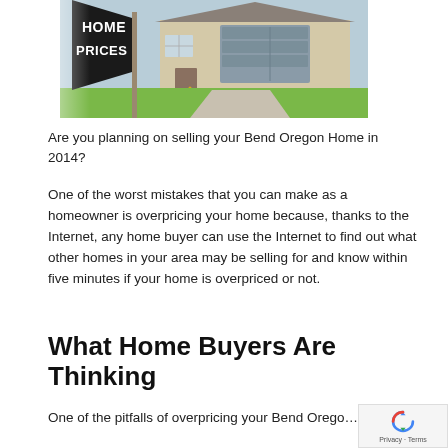[Figure (photo): A real estate sign reading HOME PRICES in white bold text on a black triangular banner, with a house, garage, and green lawn in the background.]
Are you planning on selling your Bend Oregon Home in 2014?
One of the worst mistakes that you can make as a homeowner is overpricing your home because, thanks to the Internet, any home buyer can use the Internet to find out what other homes in your area may be selling for and know within five minutes if your home is overpriced or not.
What Home Buyers Are Thinking
One of the pitfalls of overpricing your Bend Oregon Home is that it will sit on the Real Estate market...